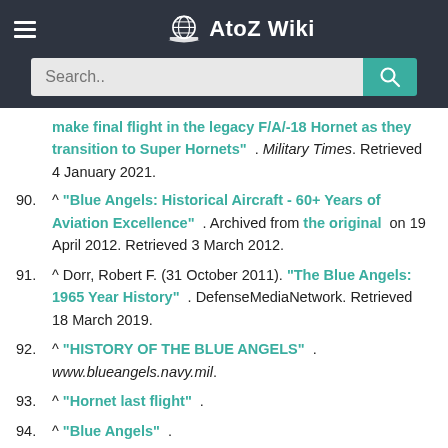AtoZ Wiki
make final flight in the legacy F/A/-18 Hornet as they transition to Super Hornets" . Military Times. Retrieved 4 January 2021.
90. ^ "Blue Angels: Historical Aircraft - 60+ Years of Aviation Excellence" . Archived from the original on 19 April 2012. Retrieved 3 March 2012.
91. ^ Dorr, Robert F. (31 October 2011). "The Blue Angels: 1965 Year History" . DefenseMediaNetwork. Retrieved 18 March 2019.
92. ^ "HISTORY OF THE BLUE ANGELS" . www.blueangels.navy.mil.
93. ^ "Hornet last flight" .
94. ^ "Blue Angels" .